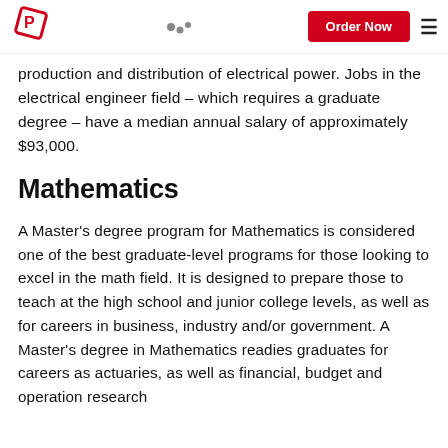Order Now
production and distribution of electrical power. Jobs in the electrical engineer field – which requires a graduate degree – have a median annual salary of approximately $93,000.
Mathematics
A Master's degree program for Mathematics is considered one of the best graduate-level programs for those looking to excel in the math field. It is designed to prepare those to teach at the high school and junior college levels, as well as for careers in business, industry and/or government. A Master's degree in Mathematics readies graduates for careers as actuaries, as well as financial, budget and operation research